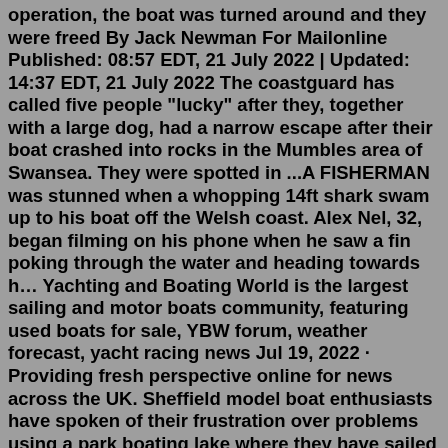operation, the boat was turned around and they were freed By Jack Newman For Mailonline Published: 08:57 EDT, 21 July 2022 | Updated: 14:37 EDT, 21 July 2022 The coastguard has called five people "lucky" after they, together with a large dog, had a narrow escape after their boat crashed into rocks in the Mumbles area of Swansea. They were spotted in ...A FISHERMAN was stunned when a whopping 14ft shark swam up to his boat off the Welsh coast. Alex Nel, 32, began filming on his phone when he saw a fin poking through the water and heading towards h… Yachting and Boating World is the largest sailing and motor boats community, featuring used boats for sale, YBW forum, weather forecast, yacht racing news Jul 19, 2022 · Providing fresh perspective online for news across the UK. Sheffield model boat enthusiasts have spoken of their frustration over problems using a park boating lake where they have sailed their ... All the latest Motor Boat news from the Motor Boat & Yachting team. Updated daily with the best boating stories from the UK, Europe and beyond. Azimut